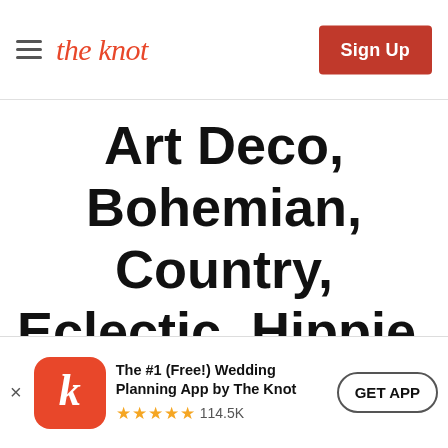the knot — Sign Up
Art Deco, Bohemian, Country, Eclectic, Hippie, Industrial, Natural, Nautical, Retro, Romantic, Southern, Vintage, Whimsical, Alternative, Yellow, Beach, Castle, City Hall, Country
The #1 (Free!) Wedding Planning App by The Knot ★★★★★ 114.5K — GET APP